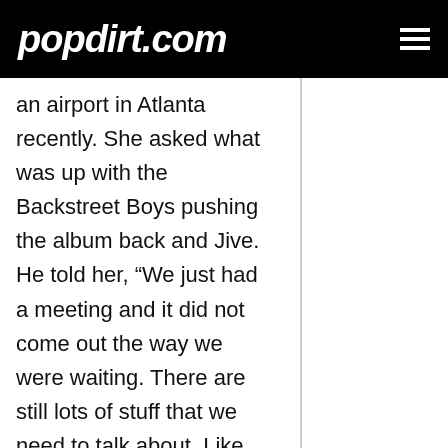popdirt.com
an airport in Atlanta recently. She asked what was up with the Backstreet Boys pushing the album back and Jive. He told her, “We just had a meeting and it did not come out the way we were waiting. There are still lots of stuff that we need to talk about. Like it’s been like one year that we didn’t [have] a meeting, but I hope to get